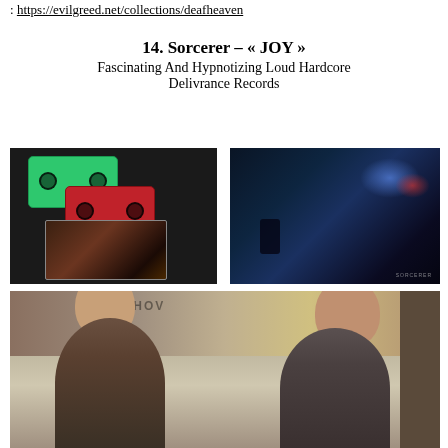: https://evilgreed.net/collections/deafheaven
14. Sorcerer – « JOY »
Fascinating And Hypnotizing Loud Hardcore
Delivrance Records
[Figure (photo): Two cassette tapes (green and red) with album case on dark background]
[Figure (photo): Dark blue album artwork with light glow and cave-like imagery, SORCERER text bottom right]
[Figure (photo): Two band members standing in front of graffiti wall, one seen from behind, one facing camera]